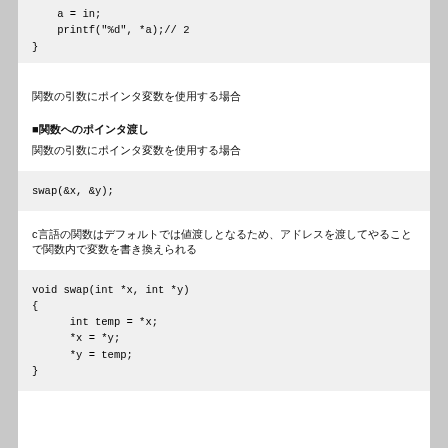a = in;
    printf("%d", *a);// 2
}
関数の引数にポインタ変数を使用する場合
■関数へのポインタ渡し
関数の引数にポインタ変数を使用する場合
swap(&x, &y);
cの関数はデフォルトでは値渡しとなるため、アドレスを渡してやることで関数内で変数を書き換えられる
void swap(int *x, int *y)
{
    int temp = *x;
    *x = *y;
    *y = temp;
}